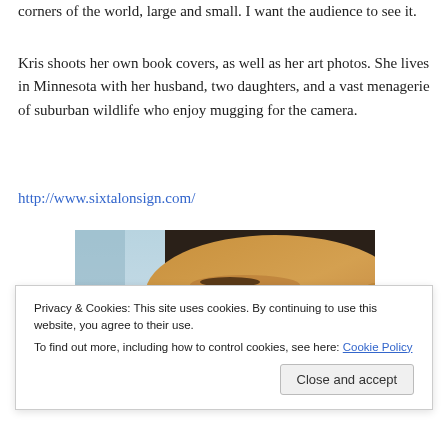corners of the world, large and small. I want the audience to see it.
Kris shoots her own book covers, as well as her art photos. She lives in Minnesota with her husband, two daughters, and a vast menagerie of suburban wildlife who enjoy mugging for the camera.
http://www.sixtalonsign.com/
[Figure (photo): Partial close-up photo of a person's face, showing forehead, eyes and top of head against a light blue/sky background]
Privacy & Cookies: This site uses cookies. By continuing to use this website, you agree to their use.
To find out more, including how to control cookies, see here: Cookie Policy
Close and accept